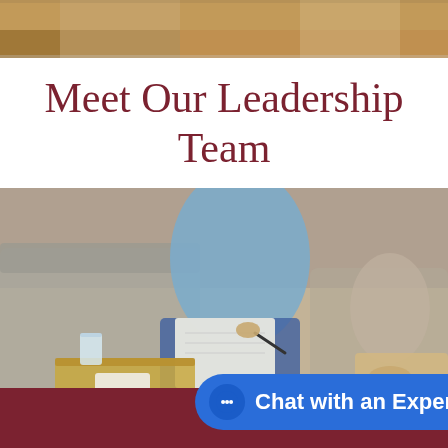[Figure (photo): Top strip of a photo showing two people in a counseling or meeting session, cropped at the top of the page.]
Meet Our Leadership Team
[Figure (photo): A person in a blue sweater writing on a notepad while sitting across from another person on a couch, with a coffee table and glass of water visible. Counseling or consultation session scene.]
Chat with an Expert